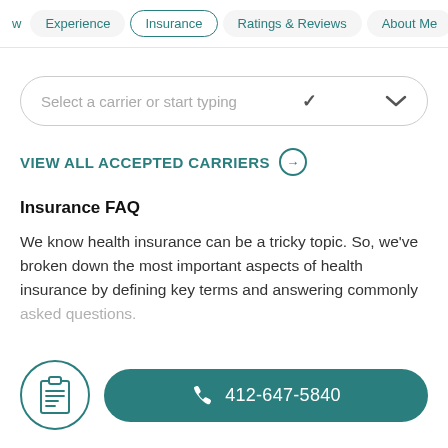w  Experience  Insurance  Ratings & Reviews  About Me
Select a carrier or start typing
VIEW ALL ACCEPTED CARRIERS →
Insurance FAQ
We know health insurance can be a tricky topic. So, we've broken down the most important aspects of health insurance by defining key terms and answering commonly asked questions.
[Figure (illustration): Clipboard icon inside a teal circle outline]
412-647-5840